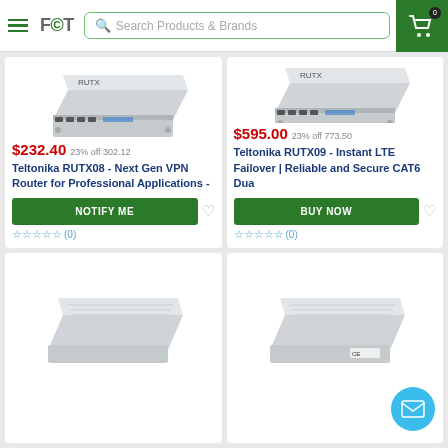FCT  Search Products & Brands  Cart (0)
[Figure (photo): Teltonika RUTX08 router product image - silver metal box]
$232.40  23% off 302.12
Teltonika RUTX08 - Next Gen VPN Router for Professional Applications -
NOTIFY ME
☆☆☆☆☆ (0)
[Figure (photo): Teltonika RUTX09 router product image - silver metal box]
$595.00  23% off 773.50
Teltonika RUTX09 - Instant LTE Failover | Reliable and Secure CAT6 Dua
BUY NOW
☆☆☆☆☆ (0)
[Figure (photo): Third product image - partially visible router]
[Figure (photo): Fourth product image - partially visible router with mail button overlay]